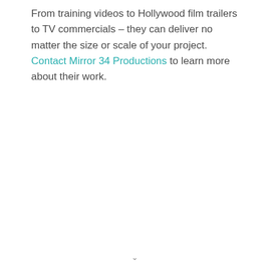From training videos to Hollywood film trailers to TV commercials – they can deliver no matter the size or scale of your project. Contact Mirror 34 Productions to learn more about their work.